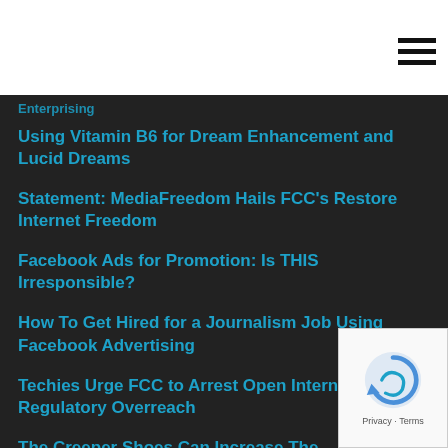Using Vitamin B6 for Dream Enhancement and Lucid Dreams
Statement: MediaFreedom Hails FCC's Restore Internet Freedom
Facebook Ads for Promotion: Is THIS Irresponsible?
How To Get Hired for a Journalism Job Using Facebook Advertising
Techies Urge FCC to Arrest Open Internet Order's Regulatory Overreach
The Creeper Shoes Can Increase The Attractiveness Quotient of A Woman